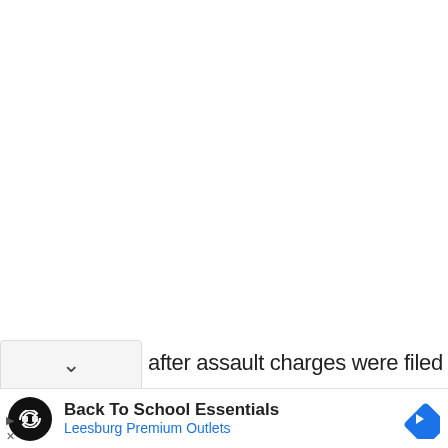after assault charges were filed by
[Figure (screenshot): Advertisement banner: Back To School Essentials - Leesburg Premium Outlets, with round black logo showing chain/link icon and blue diamond navigation icon on right]